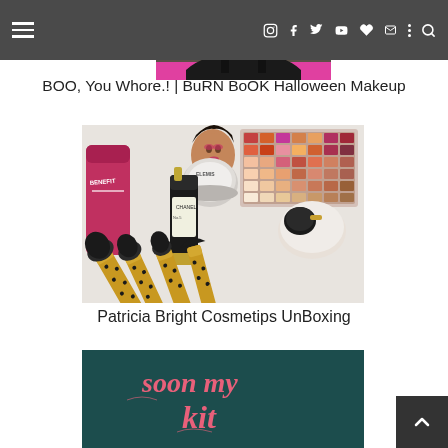Navigation bar with hamburger menu and social icons (Instagram, Facebook, Twitter, YouTube, heart, email) and search
[Figure (photo): Person wearing a dark facial mask, wearing black straps, cropped top portion, with pink background element]
BOO, You Whore.! | BuRN BoOK Halloween Makeup
[Figure (photo): Flatlay of makeup products including brushes with black and gold handles, a cream jar labeled ELEMIS, a dark spray bottle, a large eyeshadow palette, and a powder puff, on a white surface]
Patricia Bright Cosmetips UnBoxing
[Figure (photo): Partial image at bottom showing cursive pink text 'soon my kit' on a dark teal background]